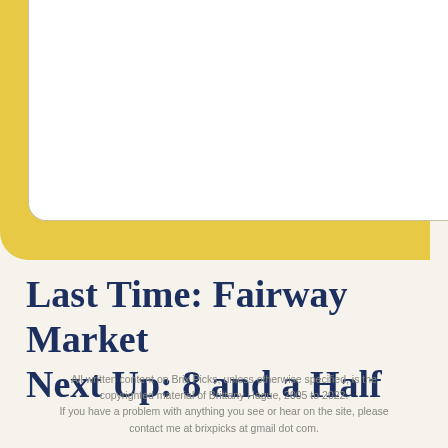[Figure (illustration): Decorative yellow rounded rectangle with a white inner box partially visible in top-left area, serving as a page header/design element.]
Last Time: Fairway Market
Next Up: 8 and a Half
All written content on Brix Picks, unless otherwise specified, is the copyrighted material of Brittany Hague, 2005 to 2022. If you have a problem with anything you see or hear on the site, please contact me at brixpicks at gmail dot com.